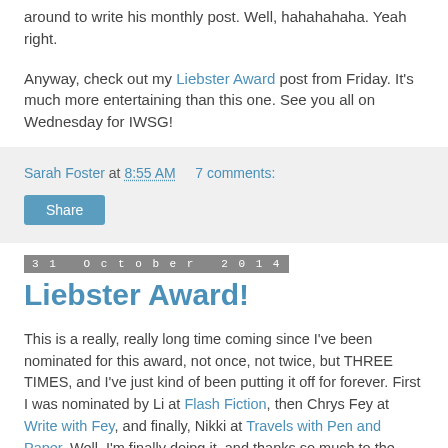around to write his monthly post. Well, hahahahaha. Yeah right.
Anyway, check out my Liebster Award post from Friday. It's much more entertaining than this one. See you all on Wednesday for IWSG!
Sarah Foster at 8:55 AM   7 comments:
Share
31 October 2014
Liebster Award!
This is a really, really long time coming since I've been nominated for this award, not once, not twice, but THREE TIMES, and I've just kind of been putting it off for forever. First I was nominated by Li at Flash Fiction, then Chrys Fey at Write with Fey, and finally, Nikki at Travels with Pen and Paper. Well, I'm finally doing it, and thanks so much to the three awesome ladies who nominated me.